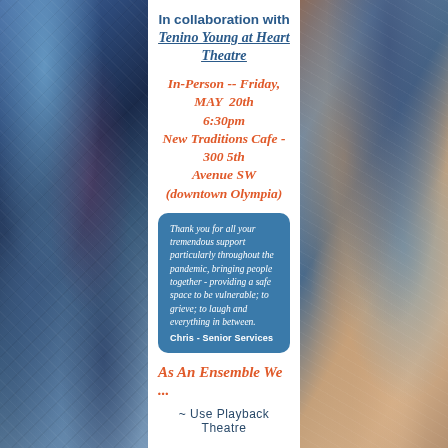In collaboration with
Tenino Young at Heart Theatre
In-Person -- Friday, MAY 20th
6:30pm
New Traditions Cafe - 300 5th Avenue SW
(downtown Olympia)
Thank you for all your tremendous support particularly throughout the pandemic, bringing people together - providing a safe space to be vulnerable; to grieve; to laugh and everything in between.
Chris - Senior Services
As An Ensemble We ...
~ Use Playback Theatre